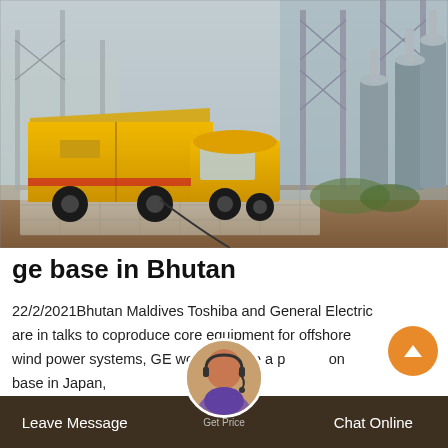[Figure (photo): Yellow utility/maintenance truck parked at an electrical substation with large transformer equipment and steel lattice structures in the background. Ground is paved with stone blocks.]
ge base in Bhutan
22/2/2021Bhutan Maldives Toshiba and General Electric are in talks to coproduce core equipment for offshore wind power systems, GE would secure a production base in Japan,
Leave Message   Get Price   Chat Online